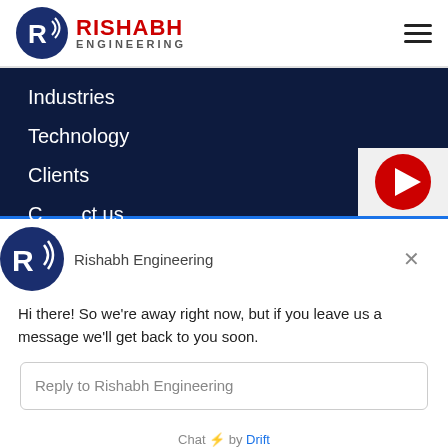[Figure (logo): Rishabh Engineering logo with circular R emblem and company name]
Industries
Technology
Clients
Contact us
[Figure (screenshot): Chat widget popup from Drift showing Rishabh Engineering chatbot. Message: Hi there! So we're away right now, but if you leave us a message we'll get back to you soon. Reply input field and Chat by Drift footer.]